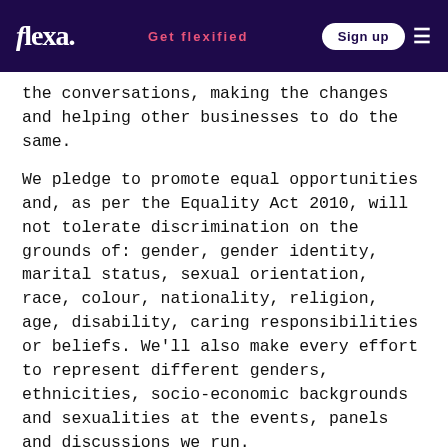flexa. | Get flexified | Sign up
the conversations, making the changes and helping other businesses to do the same.
We pledge to promote equal opportunities and, as per the Equality Act 2010, will not tolerate discrimination on the grounds of: gender, gender identity, marital status, sexual orientation, race, colour, nationality, religion, age, disability, caring responsibilities or beliefs. We'll also make every effort to represent different genders, ethnicities, socio-economic backgrounds and sexualities at the events, panels and discussions we run.
Agencies
Strictly no recruitment agencies.